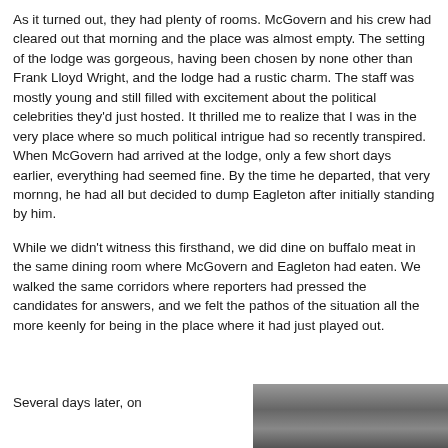As it turned out, they had plenty of rooms. McGovern and his crew had cleared out that morning and the place was almost empty. The setting of the lodge was gorgeous, having been chosen by none other than Frank Lloyd Wright, and the lodge had a rustic charm. The staff was mostly young and still filled with excitement about the political celebrities they'd just hosted. It thrilled me to realize that I was in the very place where so much political intrigue had so recently transpired. When McGovern had arrived at the lodge, only a few short days earlier, everything had seemed fine. By the time he departed, that very mornng, he had all but decided to dump Eagleton after initially standing by him.
While we didn't witness this firsthand, we did dine on buffalo meat in the same dining room where McGovern and Eagleton had eaten. We walked the same corridors where reporters had pressed the candidates for answers, and we felt the pathos of the situation all the more keenly for being in the place where it had just played out.
Several days later, on
[Figure (photo): Partial photo of a person, cropped at the bottom of the page]